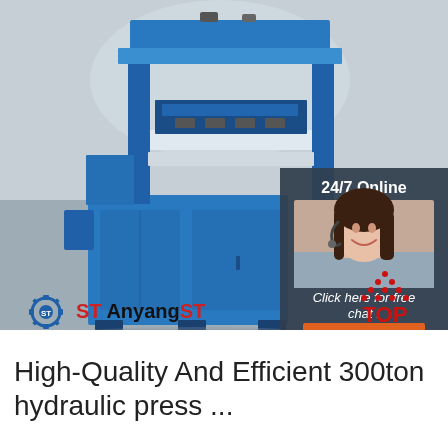[Figure (photo): Blue hydraulic press machine (300-ton) on factory floor with blurred background. A customer service representative overlay panel on the right side shows a woman with headset, text '24/7 Online', 'Click here for free chat!', and an orange QUOTATION button. Anyang ST logo in bottom-left of photo.]
High-Quality And Efficient 300ton hydraulic press ...